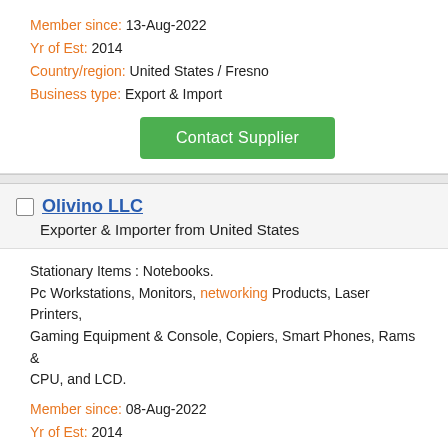Member since: 13-Aug-2022
Yr of Est: 2014
Country/region: United States / Fresno
Business type: Export & Import
Contact Supplier
Olivino LLC
Exporter & Importer from United States
Stationary Items : Notebooks.
Pc Workstations, Monitors, networking Products, Laser Printers, Gaming Equipment & Console, Copiers, Smart Phones, Rams & CPU, and LCD.
Member since: 08-Aug-2022
Yr of Est: 2014
Country/region: United States / St. Louis
Business type: Export & Import